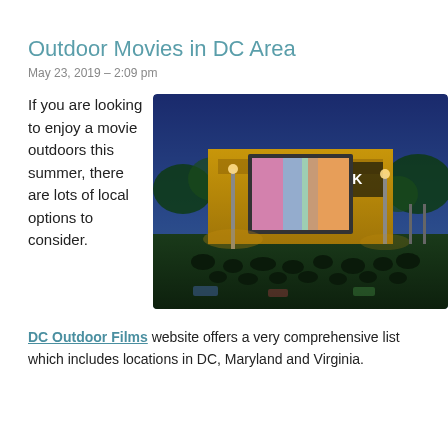Outdoor Movies in DC Area
May 23, 2019 – 2:09 pm
If you are looking to enjoy a movie outdoors this summer, there are lots of local options to consider.
[Figure (photo): Outdoor movie screening at night at a park venue called PARK, with audience sitting on grass watching a large screen showing a colorful movie. Buildings and lights visible in background against deep blue evening sky.]
DC Outdoor Films website offers a very comprehensive list which includes locations in DC, Maryland and Virginia.